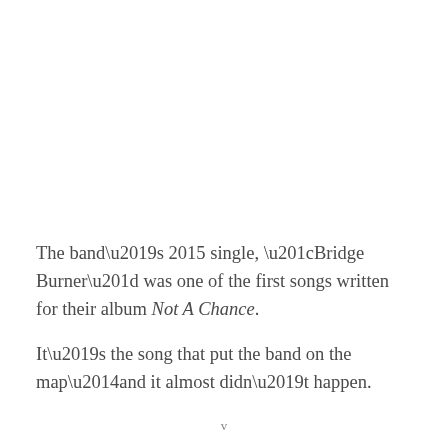The band's 2015 single, “Bridge Burner” was one of the first songs written for their album Not A Chance.
It’s the song that put the band on the map—and it almost didn’t happen.
v